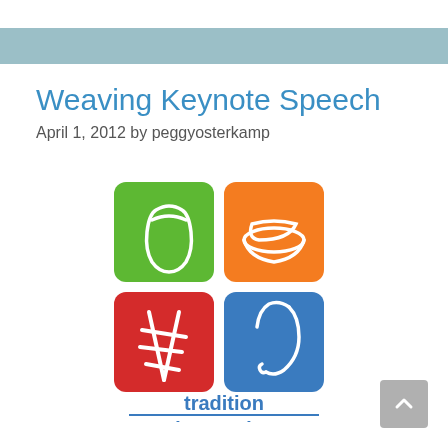Weaving Keynote Speech
April 1, 2012 by peggyosterkamp
[Figure (logo): Four colored square tiles (green with basket shape, orange with hat/bowl shape, red with weaving cross symbol, blue with shuttle/hook symbol) above text 'tradition innovation' logo for a weaving conference]